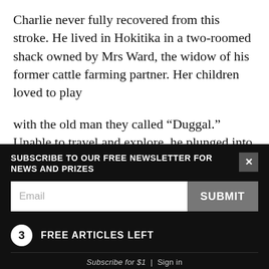Charlie never fully recovered from this stroke. He lived in Hokitika in a two-roomed shack owned by Mrs Ward, the widow of his former cattle farming partner. Her children loved to play
with the old man they called “Duggal.” Unable to travel and explore, he plunged into drawing maps of the country he was the first to see, reliving his old adventures, enclosed in a capsule of memories.
The old longing for solitude still gnawed at him. In
SUBSCRIBE TO OUR FREE NEWSLETTER FOR NEWS AND PRIZES
Email
SUBMIT
3 FREE ARTICLES LEFT
Subscribe for $1 | Sign in